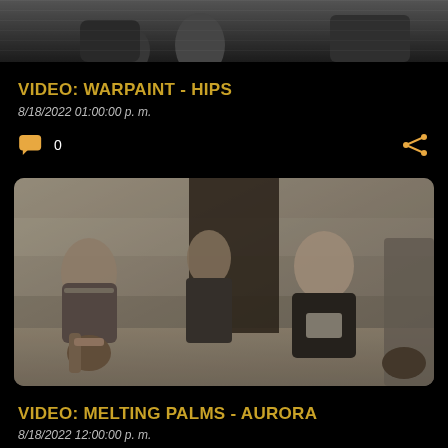[Figure (photo): Black and white photo at top of page, partial view showing people outdoors]
VIDEO: WARPAINT - HIPS
8/18/2022 01:00:00 p. m.
[Figure (photo): Color photo of band members (3-4 people) sitting against a concrete/stone wall outdoors, rounded corners]
VIDEO: MELTING PALMS - AURORA
8/18/2022 12:00:00 p. m.